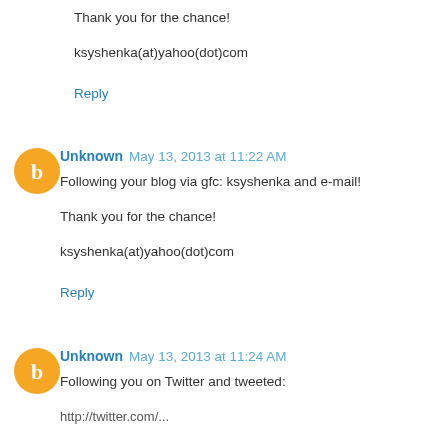Thank you for the chance!
ksyshenka(at)yahoo(dot)com
Reply
Unknown  May 13, 2013 at 11:22 AM
Following your blog via gfc: ksyshenka and e-mail!
Thank you for the chance!
ksyshenka(at)yahoo(dot)com
Reply
Unknown  May 13, 2013 at 11:24 AM
Following you on Twitter and tweeted:
http://twitter.com/...